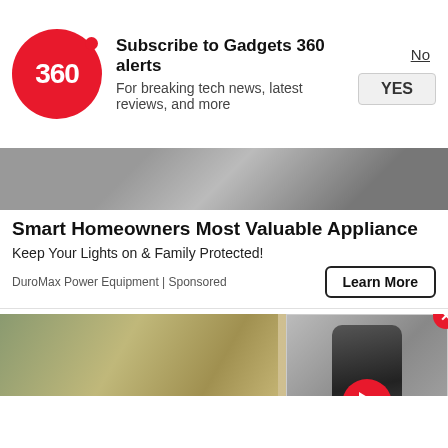[Figure (logo): Gadgets 360 red circular logo with '360' text in white]
Subscribe to Gadgets 360 alerts
For breaking tech news, latest reviews, and more
No
YES
[Figure (photo): Top portion of a machinery/appliance image, dark background with equipment visible]
Smart Homeowners Most Valuable Appliance
Keep Your Lights on & Family Protected!
DuroMax Power Equipment | Sponsored
Learn More
[Figure (photo): Family sitting together smiling in a living room, with a video thumbnail overlay showing a smartphone and a red play button]
[Figure (screenshot): Video thumbnail overlay on right side showing a dark smartphone with red play button]